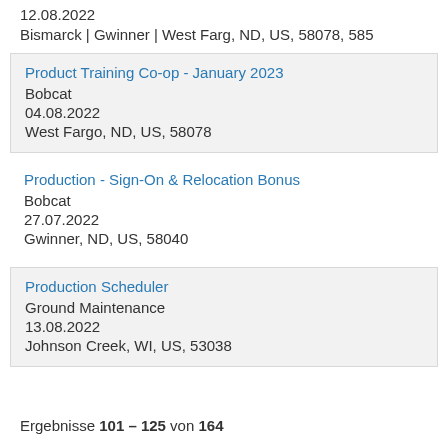12.08.2022
Bismarck | Gwinner | West Farg, ND, US, 58078, 585
Product Training Co-op - January 2023
Bobcat
04.08.2022
West Fargo, ND, US, 58078
Production - Sign-On & Relocation Bonus
Bobcat
27.07.2022
Gwinner, ND, US, 58040
Production Scheduler
Ground Maintenance
13.08.2022
Johnson Creek, WI, US, 53038
Ergebnisse 101 – 125 von 164